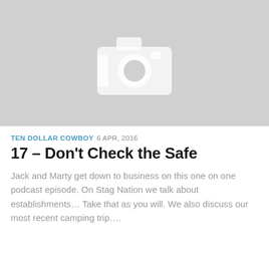[Figure (photo): Placeholder image with grey background and white camera icon in the center]
TEN DOLLAR COWBOY 6 APR, 2016
17 – Don't Check the Safe
Jack and Marty get down to business on this one on one podcast episode. On Stag Nation we talk about establishments… Take that as you will. We also discuss our most recent camping trip….